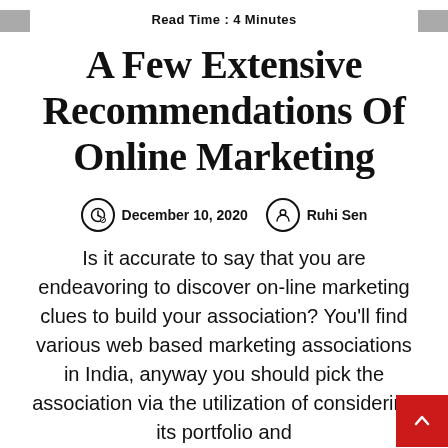Read Time : 4 Minutes
A Few Extensive Recommendations Of Online Marketing
December 10, 2020   Ruhi Sen
Is it accurate to say that you are endeavoring to discover on-line marketing clues to build your association? You'll find various web based marketing associations in India, anyway you should pick the association via the utilization of considering its portfolio and